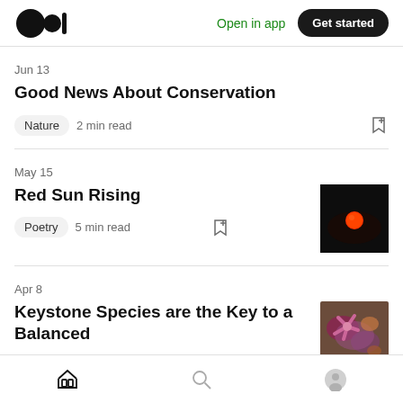Medium logo | Open in app | Get started
Jun 13
Good News About Conservation
Nature  2 min read
May 15
Red Sun Rising
Poetry  5 min read
[Figure (photo): Dark image with a red/orange sun circle against black background]
Apr 8
Keystone Species are the Key to a Balanced
[Figure (photo): Close-up nature/underwater photo showing purple starfish or sea creatures]
Home | Search | Profile navigation icons